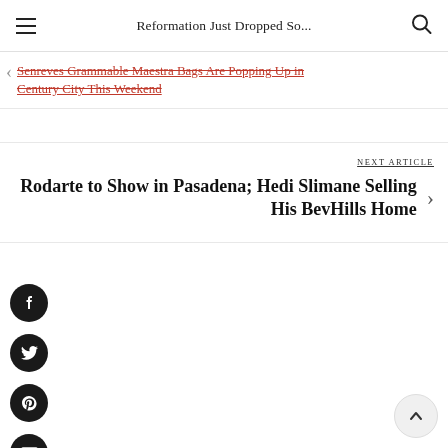Reformation Just Dropped So...
Senreves Grammable Maestra Bags Are Popping Up in Century City This Weekend
NEXT ARTICLE
Rodarte to Show in Pasadena; Hedi Slimane Selling His BevHills Home